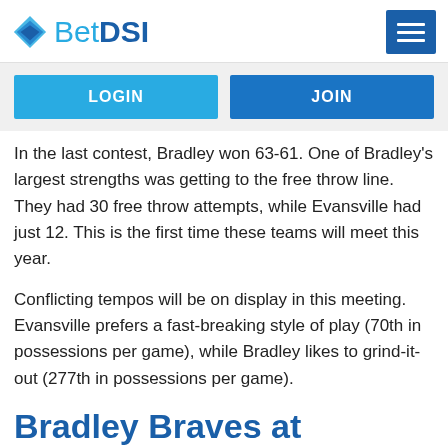BetDSI
In the last contest, Bradley won 63-61. One of Bradley's largest strengths was getting to the free throw line. They had 30 free throw attempts, while Evansville had just 12. This is the first time these teams will meet this year.
Conflicting tempos will be on display in this meeting. Evansville prefers a fast-breaking style of play (70th in possessions per game), while Bradley likes to grind-it-out (277th in possessions per game).
Bradley Braves at Evansville Aces Pick